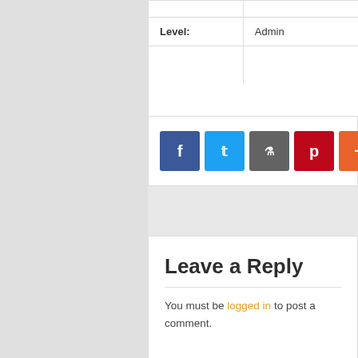| Level: | Admin |
[Figure (other): Social sharing buttons: Facebook (blue), Twitter (light blue), Digg (gray), Pinterest (red), More (orange)]
Leave a Reply
You must be logged in to post a comment.
• Home  • Services  • Ethics & Compliance  • News  •